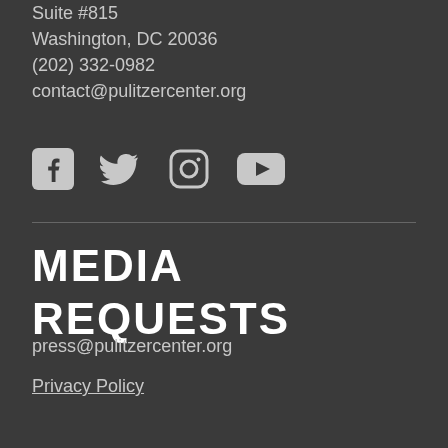Suite #815
Washington, DC 20036
(202) 332-0982
contact@pulitzercenter.org
[Figure (other): Social media icons: Facebook, Twitter, Instagram, YouTube]
MEDIA REQUESTS
press@pulitzercenter.org
Privacy Policy